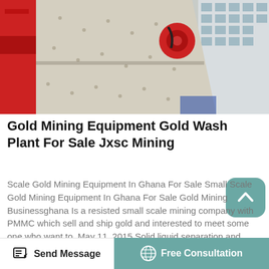[Figure (photo): Industrial mining equipment - large white machine/screen with red frame parts, photographed from below against grey sky with building in background]
Gold Mining Equipment Gold Wash Plant For Sale Jxsc Mining
Scale Gold Mining Equipment In Ghana For Sale Small Scale Gold Mining Equipment In Ghana For Sale Gold Mining Businessghana Is a resisted small scale mining company with PMMC which sell and ship gold and interested to meet some one who want to .May 11, 2015 Solid liquid separation and mineral processing specialist,